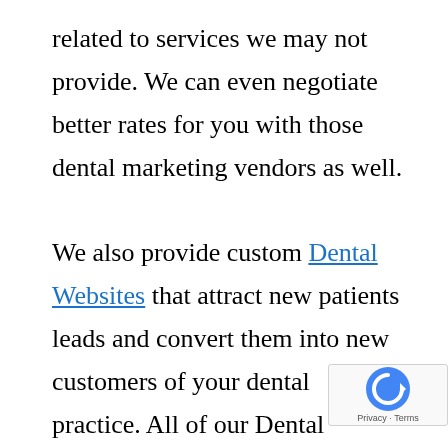related to services we may not provide. We can even negotiate better rates for you with those dental marketing vendors as well.

We also provide custom Dental Websites that attract new patients leads and convert them into new customers of your dental practice. All of our Dental Websites are built on the world famous WordPress platform which is completely SEO & Social Media friendly. We get dentists new patients from online marketing strategies period managing it all